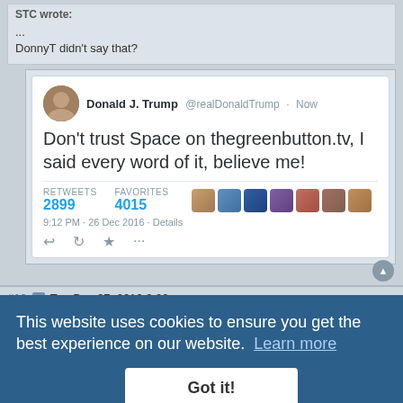STC wrote:
...
DonnyT didn't say that?
[Figure (screenshot): Screenshot of a fake Donald J. Trump tweet reading: Don't trust Space on thegreenbutton.tv, I said every word of it, believe me! with 2899 retweets and 4015 favorites, timestamped 9:12 PM - 26 Dec 2016]
#10  Tue Dec 27, 2016 3:00 am
This website uses cookies to ensure you get the best experience on our website.  Learn more
Got it!
#11  Tue Dec 27, 2016 10:09 am